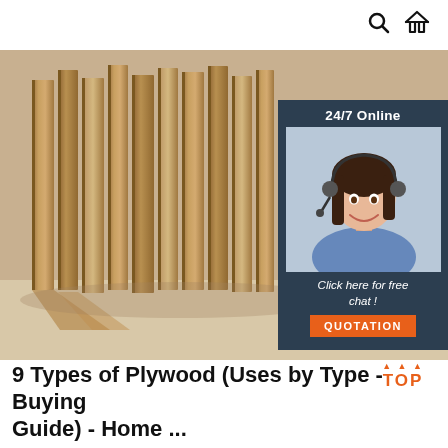🔍 🏠
[Figure (photo): Multiple plywood sheets standing vertically on edge showing cross-section layers, with a customer support agent overlay on the right side with '24/7 Online' text, 'Click here for free chat!' text, and an orange 'QUOTATION' button.]
9 Types of Plywood (Uses by Type - Buying Guide) - Home ...
Exterior plywood: This is probably one of the most commonly used types of plywood and is used for walls, outdoor flooring and roof linings. Interior plywood: Used for